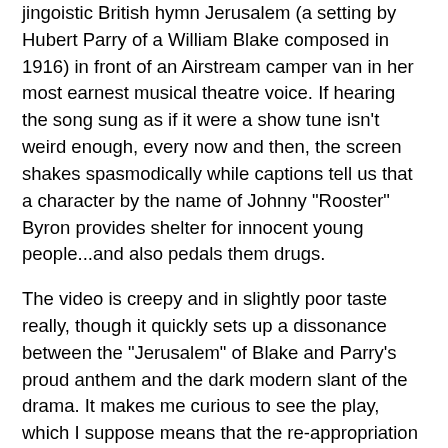jingoistic British hymn Jerusalem (a setting by Hubert Parry of a William Blake composed in 1916) in front of an Airstream camper van in her most earnest musical theatre voice. If hearing the song sung as if it were a show tune isn't weird enough, every now and then, the screen shakes spasmodically while captions tell us that a character by the name of Johnny "Rooster" Byron provides shelter for innocent young people...and also pedals them drugs.
The video is creepy and in slightly poor taste really, though it quickly sets up a dissonance between the "Jerusalem" of Blake and Parry's proud anthem and the dark modern slant of the drama. It makes me curious to see the play, which I suppose means that the re-appropriation of the song works.
The official trailer for Jerusalem is quite different in tone. It has a touch of Monty Python's Flying Circus about it. Watch it here.
As many British dramatists have been saying since the post-WWII years, so much for England's Green and Pleasant Land.